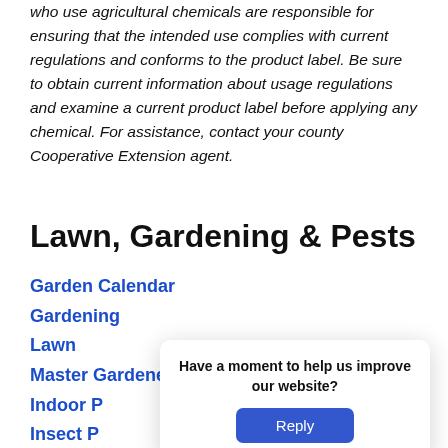who use agricultural chemicals are responsible for ensuring that the intended use complies with current regulations and conforms to the product label. Be sure to obtain current information about usage regulations and examine a current product label before applying any chemical. For assistance, contact your county Cooperative Extension agent.
Lawn, Gardening & Pests
Garden Calendar
Gardening
Lawn
Master Gardener Program
Indoor P[lants]
Insect P[ests]
Plant Di[seases]
Trees &
Have a moment to help us improve our website?